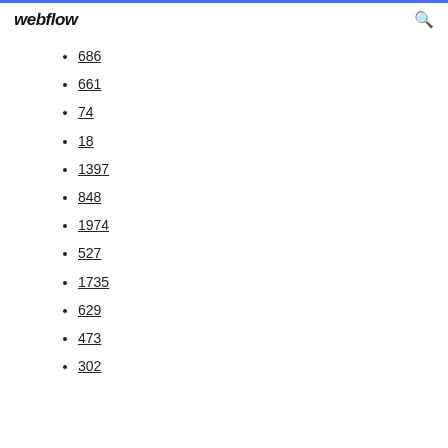webflow
686
661
74
18
1397
848
1974
527
1735
629
473
302